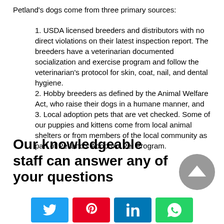Petland's dogs come from three primary sources:
1. USDA licensed breeders and distributors with no direct violations on their latest inspection report. The breeders have a veterinarian documented socialization and exercise program and follow the veterinarian's protocol for skin, coat, nail, and dental hygiene.
2. Hobby breeders as defined by the Animal Welfare Act, who raise their dogs in a humane manner, and
3. Local adoption pets that are vet checked. Some of our puppies and kittens come from local animal shelters or from members of the local community as part of Petland's Adopt-A- Pet Program.
Our knowledgeable staff can answer any of your questions